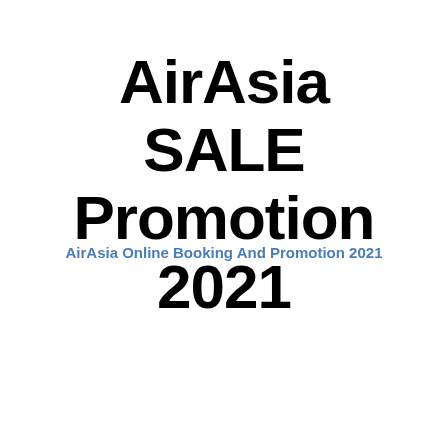AirAsia SALE Promotion 2021
AirAsia Online Booking And Promotion 2021